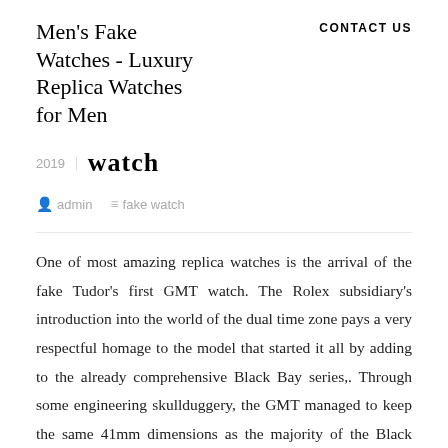Men's Fake Watches - Luxury Replica Watches for Men
CONTACT US
2019 | watch
admin   fake watch
One of most amazing replica watches is the arrival of the fake Tudor's first GMT watch. The Rolex subsidiary's introduction into the world of the dual time zone pays a very respectful homage to the model that started it all by adding to the already comprehensive Black Bay series,. Through some engineering skullduggery, the GMT managed to keep the same 41mm dimensions as the majority of the Black Bay range, even with the additional complications. That brings it in a similar big,in some ways